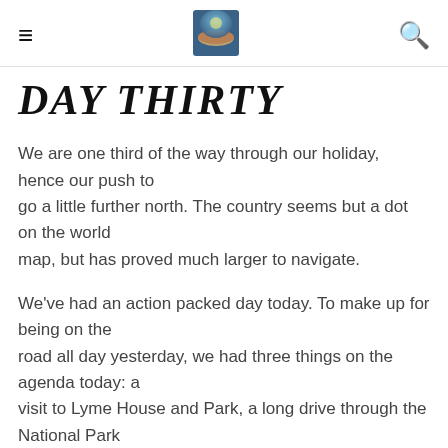≡ [logo image] 🔍
DAY THIRTY
We are one third of the way through our holiday, hence our push to go a little further north. The country seems but a dot on the world map, but has proved much larger to navigate.
We've had an action packed day today. To make up for being on the road all day yesterday, we had three things on the agenda today: a visit to Lyme House and Park, a long drive through the National Park that covers the upper park of the Midlands, and a an